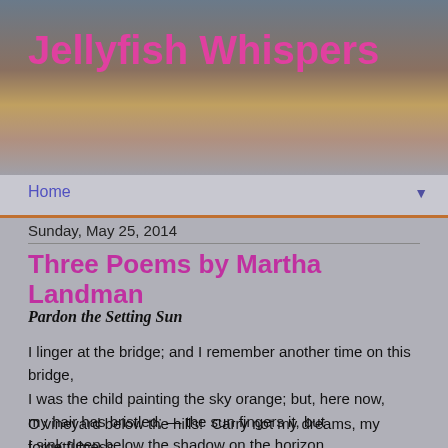Jellyfish Whispers
Home
Sunday, May 25, 2014
Three Poems by Martha Landman
Pardon the Setting Sun
I linger at the bridge; and I remember another time on this bridge,
I was the child painting the sky orange; but, here now,
my hair has bristled; — the sun fingers it, but
I sink deep below the shadow on the horizon.
O vineyard below the hills!  Carry not my dreams, my forgetfulness,
bless not my days as I pardon the setting sun.  I see no